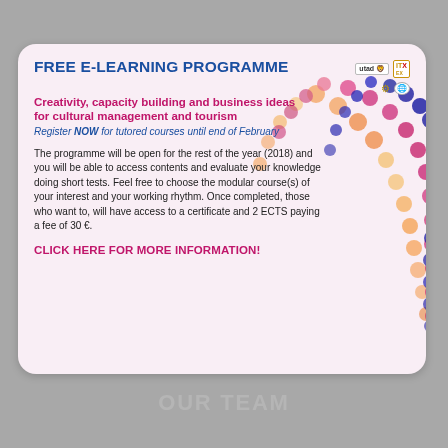FREE E-LEARNING PROGRAMME
Creativity, capacity building and business ideas for cultural management and tourism
Register NOW for tutored courses until end of February
The programme will be open for the rest of the year (2018) and you will be able to access contents and evaluate your knowledge doing short tests. Feel free to choose the modular course(s) of your interest and your working rhythm. Once completed, those who want to, will have access to a certificate and 2 ECTS paying a fee of 30 €.
CLICK HERE FOR MORE INFORMATION!
OUR TEAM